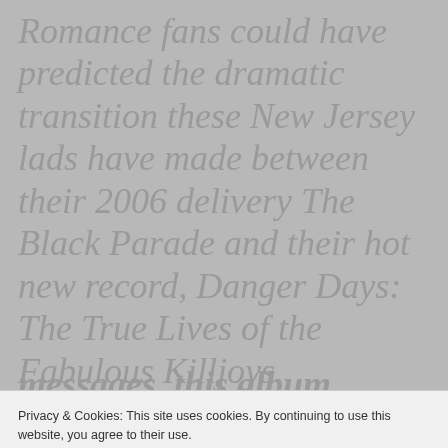Romance fans could have predicted the dramatic transition these New Jersey lads have made between their 2006 delivery The Black Parade and their hot new record, Danger Days: The True Lives of the Fabulous Killjoys. With songs that explore hope, faith, courage and human connections, it's fair to say My Chemical Romance has
Privacy & Cookies: This site uses cookies. By continuing to use this website, you agree to their use.
To find out more, including how to control cookies, see here: Our Cookie Policy
Close and accept
messages, this album challenges My